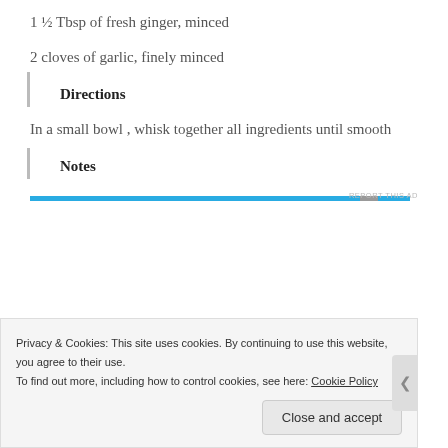1 ½ Tbsp of fresh ginger, minced
2 cloves of garlic, finely minced
Directions
In a small bowl , whisk together all ingredients until smooth
Notes
[Figure (other): Ad banner with blue progress/loading bar and REPORT THIS AD label]
Privacy & Cookies: This site uses cookies. By continuing to use this website, you agree to their use.
To find out more, including how to control cookies, see here: Cookie Policy
Close and accept